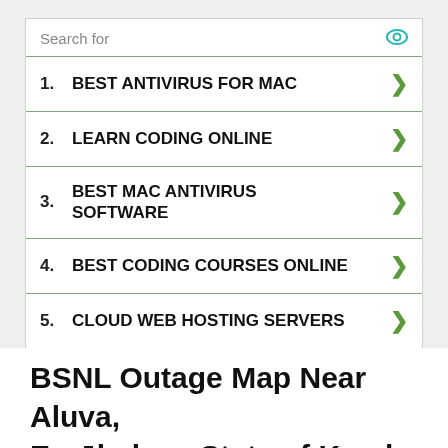Search for
1. BEST ANTIVIRUS FOR MAC
2. LEARN CODING ONLINE
3. BEST MAC ANTIVIRUS SOFTWARE
4. BEST CODING COURSES ONLINE
5. CLOUD WEB HOSTING SERVERS
BSNL Outage Map Near Aluva, Ernākulam, State of Kerala